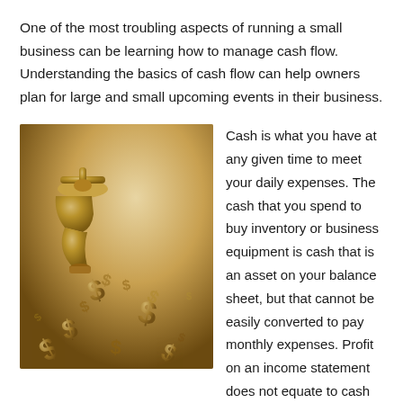One of the most troubling aspects of running a small business can be learning how to manage cash flow. Understanding the basics of cash flow can help owners plan for large and small upcoming events in their business.
[Figure (illustration): A golden metallic water faucet with dollar signs ($) flowing out of it like water, symbolizing cash flow. The image has a warm golden/sepia tone against a light background.]
Cash is what you have at any given time to meet your daily expenses. The cash that you spend to buy inventory or business equipment is cash that is an asset on your balance sheet, but that cannot be easily converted to pay monthly expenses. Profit on an income statement does not equate to cash in the bank if you have accounts